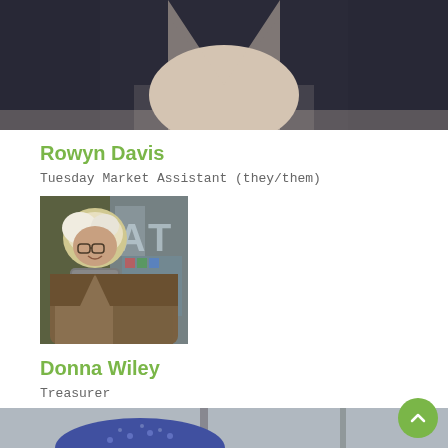[Figure (photo): Partial photo of a person wearing a dark navy sleeveless top, showing neck and upper chest area, cropped at top of page]
Rowyn Davis
Tuesday Market Assistant (they/them)
[Figure (photo): Photo of an older woman with short white/blonde hair, wearing glasses, a brown jacket and scarf, smiling in front of a shop window]
Donna Wiley
Treasurer
[Figure (photo): Partial photo of a person wearing a blue patterned beanie hat, visible from the eyes up, taken in what appears to be an indoor setting]